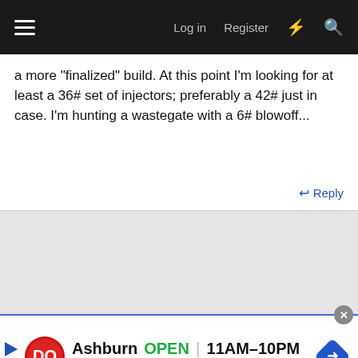Log in  Register
a more "finalized" build. At this point I'm looking for at least a 36# set of injectors; preferably a 42# just in case. I'm hunting a wastegate with a 6# blowoff...
↩ Reply
[Figure (screenshot): Gray advertisement placeholder area]
rocket 5979
Resident Gearhead
[Figure (screenshot): Dairy Queen ad banner: Ashburn OPEN 11AM-10PM, 44050 Ashburn Shopping Plz Ste 18.]